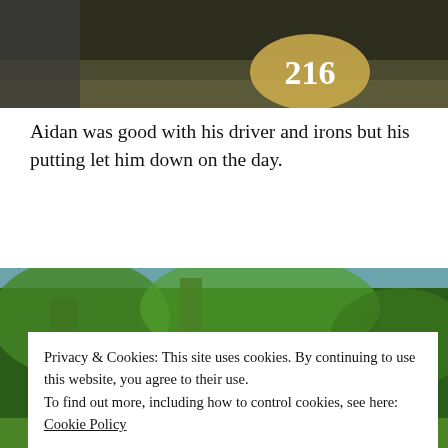[Figure (photo): Top portion of a photo showing what appears to be a golf hole marker with the number 216, dark background with green turf visible.]
Aidan was good with his driver and irons but his putting let him down on the day.
[Figure (photo): Photo of a dense wooded area with trees covered in ivy and green foliage.]
Privacy & Cookies: This site uses cookies. By continuing to use this website, you agree to their use.
To find out more, including how to control cookies, see here:
Cookie Policy
Close and accept